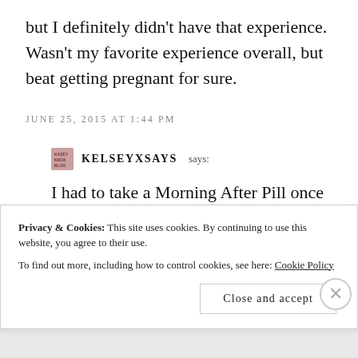but I definitely didn't have that experience. Wasn't my favorite experience overall, but beat getting pregnant for sure.
JUNE 25, 2015 AT 1:44 PM
KELSEYXSAYS says:
I had to take a Morning After Pill once before my (now) husband deployed to
Privacy & Cookies: This site uses cookies. By continuing to use this website, you agree to their use. To find out more, including how to control cookies, see here: Cookie Policy
Close and accept